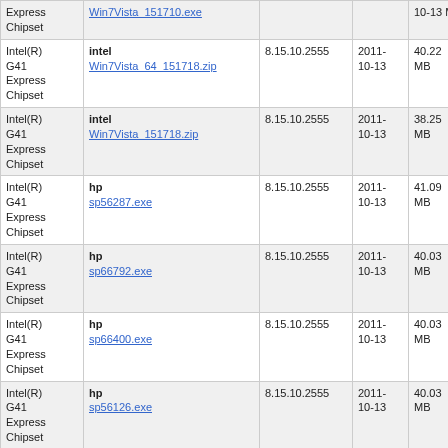| Name | File | Version | Date | Size | OS |
| --- | --- | --- | --- | --- | --- |
| Intel(R) G41 Express Chipset | intel Win7Vista_151718.zip | 8.15.10.2555 | 2011-10-13 | 40.22 MB | WWW |
| Intel(R) G41 Express Chipset | intel Win7Vista_151718.zip | 8.15.10.2555 | 2011-10-13 | 38.25 MB | VIST |
| Intel(R) G41 Express Chipset | hp sp56287.exe | 8.15.10.2555 | 2011-10-13 | 41.09 MB | WWW |
| Intel(R) G41 Express Chipset | hp sp66792.exe | 8.15.10.2555 | 2011-10-13 | 40.03 MB | WWW |
| Intel(R) G41 Express Chipset | hp sp66400.exe | 8.15.10.2555 | 2011-10-13 | 40.03 MB | WWW |
| Intel(R) G41 Express Chipset | hp sp56126.exe | 8.15.10.2555 | 2011-10-13 | 40.03 MB | WWW |
| Intel(R) G41 Express Chipset | intel Win7Vista_151717.exe | 8.15.10.2413 | 2011-06-03 | 37.94 MB | 2K,X |
| Intel(R) G41 Express Chipset | hp sp57168.exe | 8.15.10.2413 | 2011-06-03 | 141.35 MB | 2K,X |
| Intel(R) G41 | lg |  | 2011 |  |  |